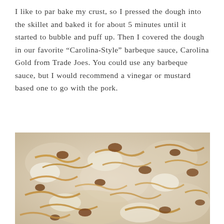I like to par bake my crust, so I pressed the dough into the skillet and baked it for about 5 minutes until it started to bubble and puff up. Then I covered the dough in our favorite “Carolina-Style” barbeque sauce, Carolina Gold from Trade Joes. You could use any barbeque sauce, but I would recommend a vinegar or mustard based one to go with the pork.
[Figure (photo): Close-up photo of a barbecue pizza with pulled pork and melted cheese on a skillet crust, showing shredded pork pieces and dark caramelized bits scattered across a white/cream cheese surface.]